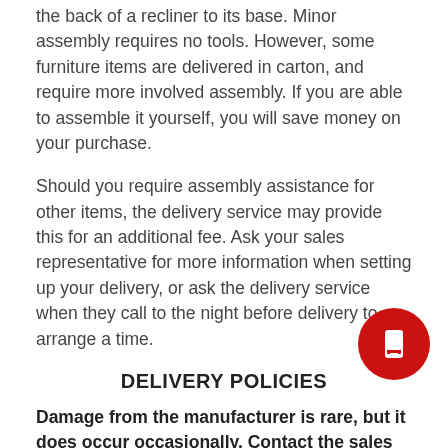the back of a recliner to its base. Minor assembly requires no tools. However, some furniture items are delivered in carton, and require more involved assembly. If you are able to assemble it yourself, you will save money on your purchase.
Should you require assembly assistance for other items, the delivery service may provide this for an additional fee. Ask your sales representative for more information when setting up your delivery, or ask the delivery service when they call to the night before delivery to arrange a time.
DELIVERY POLICIES
Damage from the manufacturer is rare, but it does occur occasionally. Contact the sales warehouse immediately. We ask that you please fill out our short and simple damage claim form on the Warranty Submission page as we will work quickly to facilitate the necessary parts or replacement of your items if there is damage or parts missing. If the items